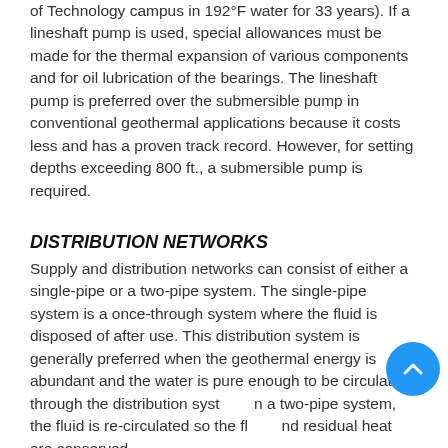of Technology campus in 192°F water for 33 years). If a lineshaft pump is used, special allowances must be made for the thermal expansion of various components and for oil lubrication of the bearings. The lineshaft pump is preferred over the submersible pump in conventional geothermal applications because it costs less and has a proven track record. However, for setting depths exceeding 800 ft., a submersible pump is required.
DISTRIBUTION NETWORKS
Supply and distribution networks can consist of either a single-pipe or a two-pipe system. The single-pipe system is a once-through system where the fluid is disposed of after use. This distribution system is generally preferred when the geothermal energy is abundant and the water is pure enough to be circulated through the distribution system. In a two-pipe system, the fluid is re-circulated so the fluid and residual heat are conserved.